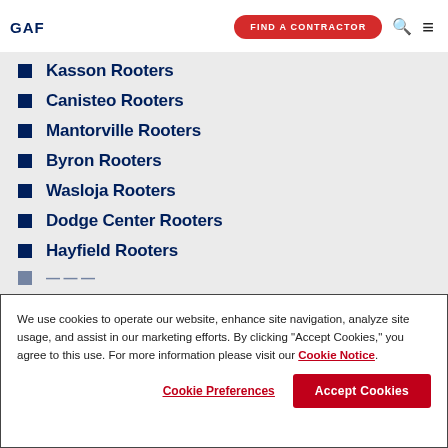GAF | FIND A CONTRACTOR
Kasson Rooters
Canisteo Rooters
Mantorville Rooters
Byron Rooters
Wasloja Rooters
Dodge Center Rooters
Hayfield Rooters
We use cookies to operate our website, enhance site navigation, analyze site usage, and assist in our marketing efforts. By clicking "Accept Cookies," you agree to this use. For more information please visit our Cookie Notice.
Cookie Preferences | Accept Cookies